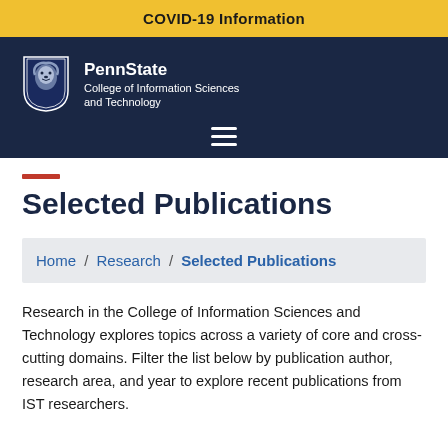COVID-19 Information
[Figure (logo): Penn State College of Information Sciences and Technology logo with lion shield and text]
Selected Publications
Home / Research / Selected Publications
Research in the College of Information Sciences and Technology explores topics across a variety of core and cross-cutting domains. Filter the list below by publication author, research area, and year to explore recent publications from IST researchers.